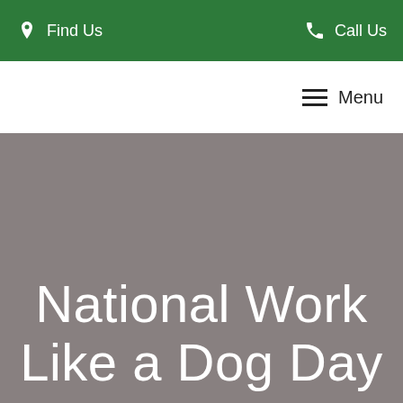Find Us   Call Us
Menu
National Work Like a Dog Day